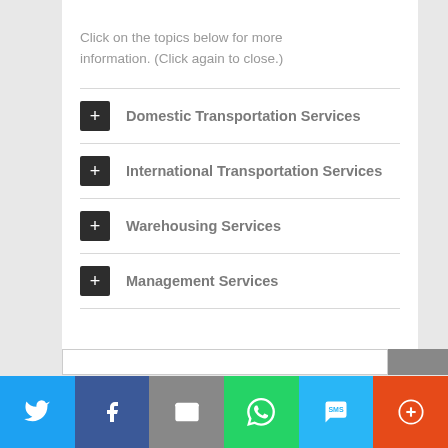Click on the topics below for more information. (Click again to close.)
Domestic Transportation Services
International Transportation Services
Warehousing Services
Management Services